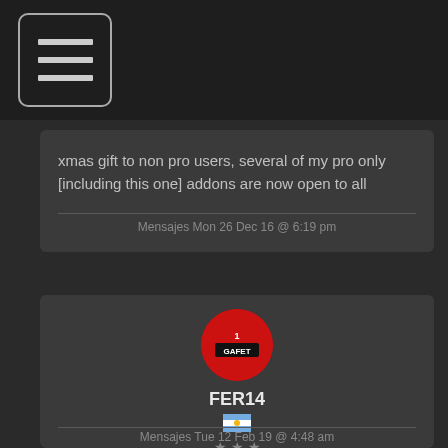[Figure (screenshot): Hamburger menu button icon in top navigation bar]
xmas gift to non pro users, several of my pro only [including this one] addons are now open to all
Mensajes Mon 26 Dec 16 @ 6:19 pm
[Figure (photo): User avatar: red circle with game logo for user FER14 with Argentina flag and 3 stars]
FER14
works on mac ?
Mensajes Tue 12 Feb 19 @ 4:48 am